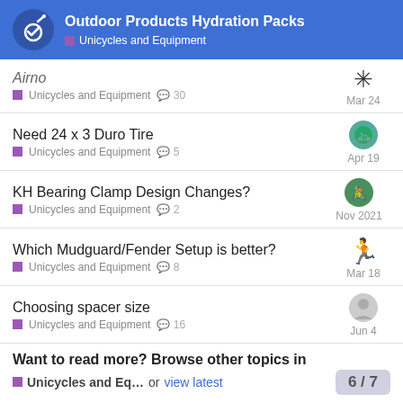Outdoor Products Hydration Packs — Unicycles and Equipment
Airno: Unicycles and Equipment · 30 replies · Mar 24
Need 24 x 3 Duro Tire · Unicycles and Equipment · 5 replies · Apr 19
KH Bearing Clamp Design Changes? · Unicycles and Equipment · 2 replies · Nov 2021
Which Mudguard/Fender Setup is better? · Unicycles and Equipment · 8 replies · Mar 18
Choosing spacer size · Unicycles and Equipment · 16 replies · Jun 4
Want to read more? Browse other topics in Unicycles and Eq… or view latest
6 / 7